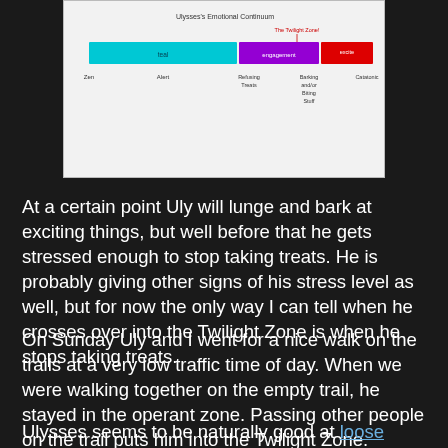[Figure (infographic): Ulysses's Emotional Continuum bar chart showing zones from Zen to Catatonic, with colored bars: teal (Zen/Alert), purple (Engagement), and red (Excitement/Twilight Zone). Labels include Zen, Alert, Refusing Treats, Barking and/or Biting Stuff, Catatonic. The Twilight Zone is marked above the red section.]
At a certain point Uly will lunge and bark at exciting things, but well before that he gets stressed enough to stop taking treats. He is probably giving other signs of his stress level as well, but for now the only way I can tell when he crosses over into the Twilight Zone is when he stops taking treats.
On Sunday Uly and I went for a nice walk on the trails at a very low traffic time of day. When we were walking together on the empty trail, he stayed in the operant zone. Passing other people on the trail puts him into the Twilight Zone. Passing another heeler/Australian shepherd mix running alongside a bicycle put him all the way up to biting stuff, and kept him excited enough to pull on the leash instead of walking nicely.
Ulysses seems to be naturally good at loose leash walking